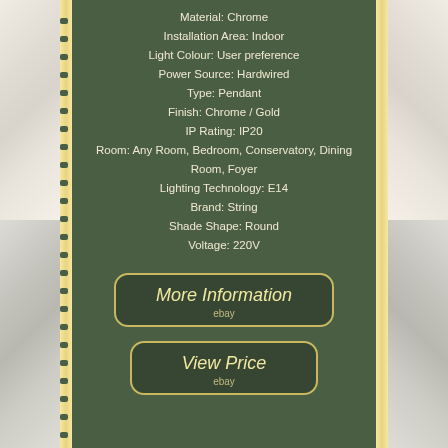Material: Chrome
Installation Area: Indoor
Light Colour: User preference
Power Source: Hardwired
Type: Pendant
Finish: Chrome / Gold
IP Rating: IP20
Room: Any Room, Bedroom, Conservatory, Dining Room, Foyer
Lighting Technology: E14
Brand: String
Shade Shape: Round
Voltage: 220V
[Figure (other): Button/link styled element with text 'More Information' and 'ebay' label below, on dark green background with gold border]
[Figure (other): Button/link styled element with text 'View Price' and 'ebay' label below, on dark green background with gold border]